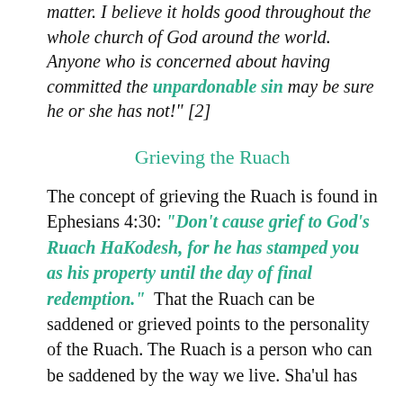matter. I believe it holds good throughout the whole church of God around the world. Anyone who is concerned about having committed the unpardonable sin may be sure he or she has not!" [2]
Grieving the Ruach
The concept of grieving the Ruach is found in Ephesians 4:30: "Don't cause grief to God's Ruach HaKodesh, for he has stamped you as his property until the day of final redemption."  That the Ruach can be saddened or grieved points to the personality of the Ruach. The Ruach is a person who can be saddened by the way we live. Sha'ul has